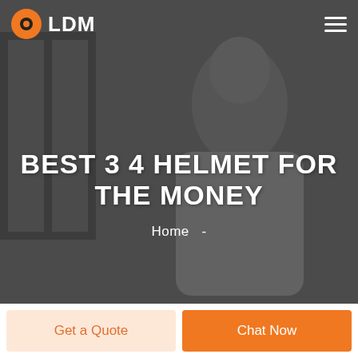LDM
BEST 3 4 HELMET FOR THE MONEY
Home  -
Get a Quote
Chat Now